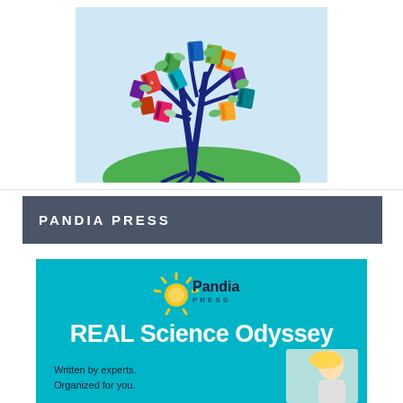[Figure (illustration): A colorful illustration of a tree with books and educational icons as leaves/branches growing from a green hill, on a light blue background]
PANDIA PRESS
[Figure (infographic): Pandia Press advertisement banner in teal/cyan color featuring the Pandia Press logo (sun with rays and 'Pandia PRESS' text), 'REAL Science Odyssey' in large white bold text, and 'Written by experts. Organized for you.' with a child's photo in the bottom right corner]